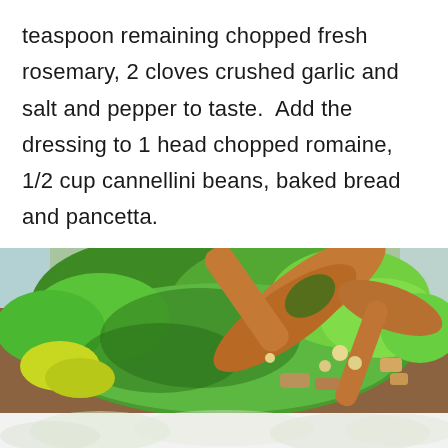teaspoon remaining chopped fresh rosemary, 2 cloves crushed garlic and salt and pepper to taste.  Add the dressing to 1 head chopped romaine, 1/2 cup cannellini beans, baked bread and pancetta.
[Figure (photo): A close-up photo of a green salad with romaine lettuce, cannellini beans, and other ingredients being tossed with wooden salad servers in a large bowl. Below it, a faded image of what appears to be lettuce or salad greens.]